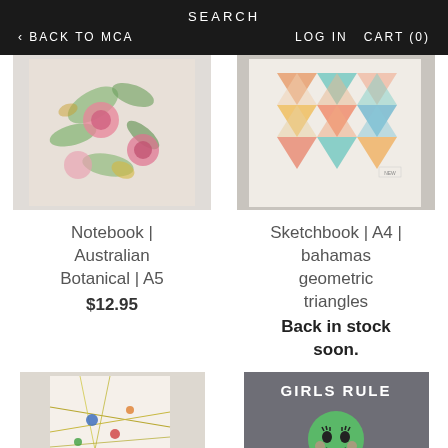SEARCH
< BACK TO MCA   LOG IN  CART (0)
[Figure (photo): Notebook with Australian Botanical floral pattern cover in pink and green, A5 size]
Notebook | Australian Botanical | A5
$12.95
[Figure (photo): Sketchbook A4 with colorful geometric triangle pattern in pastel colors on cream background]
Sketchbook | A4 | bahamas geometric triangles
Back in stock soon.
[Figure (photo): Notebook with abstract map/geometric line pattern cover]
[Figure (photo): Grey notebook/card with GIRLS RULE text and illustrated face with green circle]